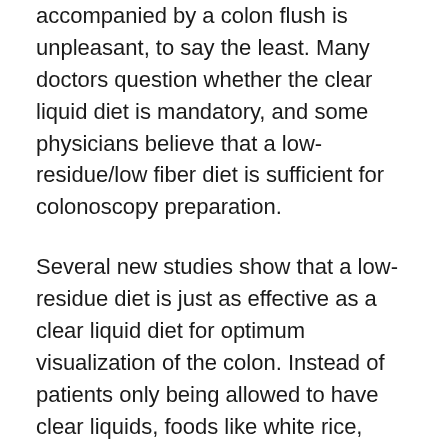accompanied by a colon flush is unpleasant, to say the least. Many doctors question whether the clear liquid diet is mandatory, and some physicians believe that a low-residue/low fiber diet is sufficient for colonoscopy preparation.
Several new studies show that a low-residue diet is just as effective as a clear liquid diet for optimum visualization of the colon. Instead of patients only being allowed to have clear liquids, foods like white rice, white bread, refined pasta, cereals, crackers, vegetables without skin or seeds, fruit without peels or seeds, tender meat, poultry, fish, eggs, and broth-based soups may be permissible. More research needs to be done, but these studies provide convincing evidence that patients may not need to starve themselves and be